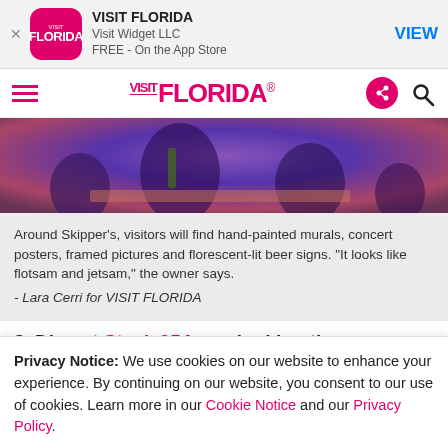[Figure (screenshot): App store banner for VISIT FLORIDA app by Visit Widget LLC, free on the App Store, with VIEW button]
VISIT FLORIDA - Visit Widget LLC - FREE - On the App Store - VIEW
[Figure (logo): VISIT FLORIDA website navigation bar with hamburger menu, Visit Florida logo in pink/magenta, share icon and search icon]
[Figure (photo): Dark photo of people at a bar or restaurant with purple/magenta lighting]
Around Skipper's, visitors will find hand-painted murals, concert posters, framed pictures and florescent-lit beer signs. "It looks like flotsam and jetsam," the owner says.
- Lara Cerri for VISIT FLORIDA
8. Dine at Steak 954 overlooking the ocean on A1A. I mean, really, every time you go out to eat, make
Privacy Notice: We use cookies on our website to enhance your experience. By continuing on our website, you consent to our use of cookies. Learn more in our Cookie Notice and our Privacy Policy.